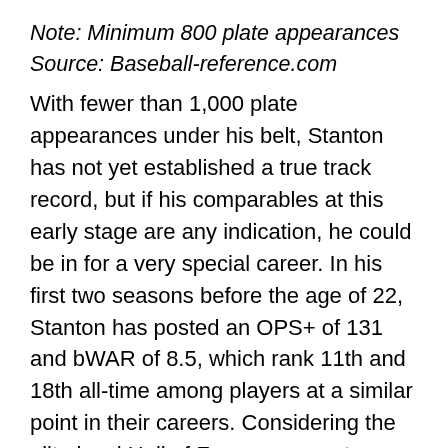Note: Minimum 800 plate appearances
Source: Baseball-reference.com
With fewer than 1,000 plate appearances under his belt, Stanton has not yet established a true track record, but if his comparables at this early stage are any indication, he could be in for a very special career. In his first two seasons before the age of 22, Stanton has posted an OPS+ of 131 and bWAR of 8.5, which rank 11th and 18th all-time among players at a similar point in their careers. Considering the elite level Hall of Famers present on both lists, it's hard not to get excited about Stanton's potential.
Theoretically, the best positions around which to build a team are located in the center of the diamond. However, it's worth noting that over the last five